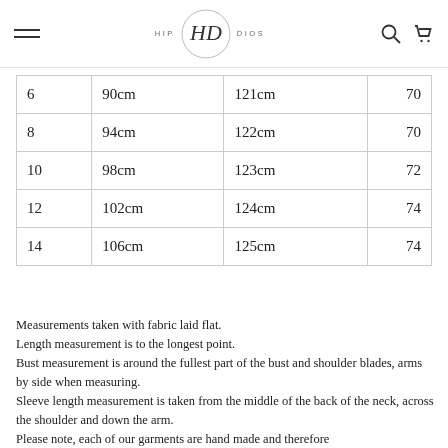HIP DIOS — navigation header with logo
| 6 | 90cm | 121cm | 70 |
| 8 | 94cm | 122cm | 70 |
| 10 | 98cm | 123cm | 72 |
| 12 | 102cm | 124cm | 74 |
| 14 | 106cm | 125cm | 74 |
Measurements taken with fabric laid flat.
Length measurement is to the longest point.
Bust measurement is around the fullest part of the bust and shoulder blades, arms by side when measuring.
Sleeve length measurement is taken from the middle of the back of the neck, across the shoulder and down the arm.
Please note, each of our garments are hand made and therefore